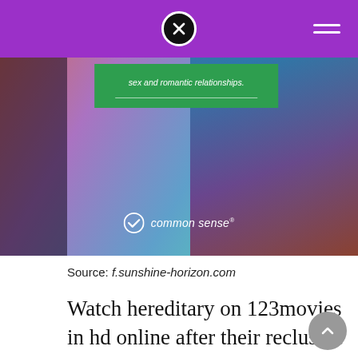[Purple navigation bar with close button and hamburger menu]
[Figure (screenshot): Screenshot of a webpage showing an advertisement overlay on a colorful background image. The ad has green background with text about sex and romantic relationships, a horizontal divider line, and a Common Sense media logo at the bottom.]
Source: f.sunshine-horizon.com
Watch hereditary on 123movies in hd online after their reclusive grandmother passes away the graham family begins to unravel cryptic and increasingly terrifying secrets about their ancestry the more they discover the more they find themselves trying to outrun the sinister fate they seem to have inherited home; Hereditary [empirez] | watch hereditary online (2018 full movie free